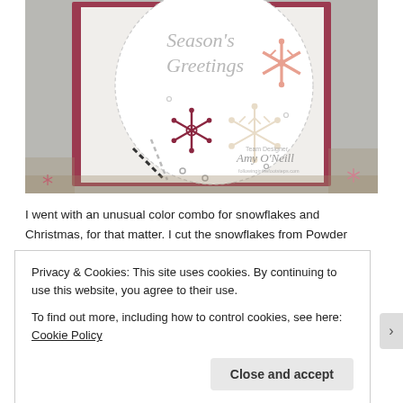[Figure (photo): A handmade Christmas greeting card with 'Season's Greetings' text inside a large stitched circle, decorated with pink, burgundy, and cream snowflake die-cuts, sequins, and ribbon on a dark pink/mauve background. The card is displayed on a rustic wood surface with additional snowflake embellishments. Watermark reads 'Amy O'Neill' with 'Team Designer'.]
I went with an unusual color combo for snowflakes and Christmas, for that matter. I cut the snowflakes from Powder
Privacy & Cookies: This site uses cookies. By continuing to use this website, you agree to their use.
To find out more, including how to control cookies, see here: Cookie Policy
Close and accept